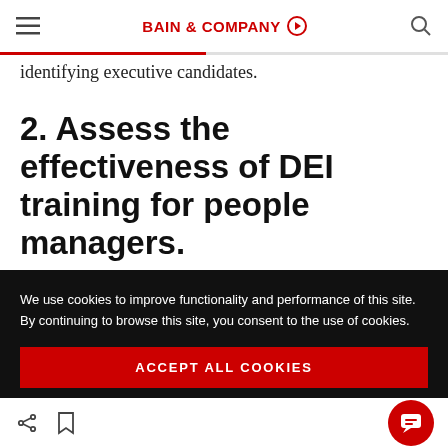BAIN & COMPANY
identifying executive candidates.
2. Assess the effectiveness of DEI training for people managers.
We use cookies to improve functionality and performance of this site. By continuing to browse this site, you consent to the use of cookies.
ACCEPT ALL COOKIES